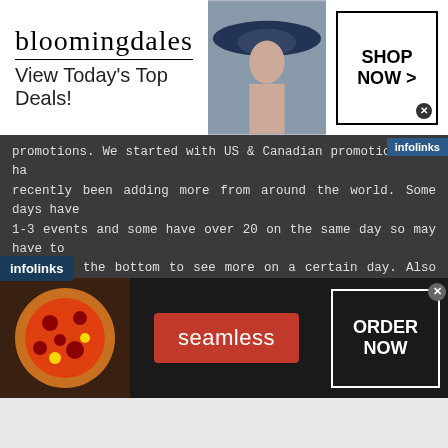[Figure (screenshot): Bloomingdale's advertisement banner: logo text 'bloomingdales', tagline 'View Today's Top Deals!', woman wearing large hat, and 'SHOP NOW >' button]
promotions. We started with US & Canadian promotions but have recently been adding more from around the world. Some days have 1-3 events and some have over 20 on the same day so may have to click at the bottom to see more on a certain day. Also we recently made it possible for anyone to comment on these event pages. If you're a fan who went to an event, feel free to leave a comment about it. * Worlds Collide WWE NXT vs NXT UK 2020 results | Discusspw.com
News *
Share this:
[Figure (screenshot): Twitter share button (blue circle with bird icon) and Facebook share button (blue circle with f icon)]
[Figure (screenshot): Seamless food delivery advertisement: pizza photo, red 'seamless' button, white 'ORDER NOW' button]